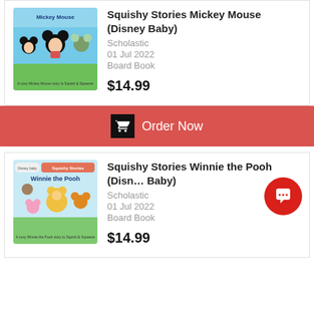[Figure (photo): Book cover for Squishy Stories Mickey Mouse (Disney Baby) - colorful children's board book cover showing Mickey Mouse and friends on green grass with blue sky]
Squishy Stories Mickey Mouse (Disney Baby)
Scholastic
01 Jul 2022
Board Book
$14.99
Order Now
[Figure (photo): Book cover for Squishy Stories Winnie the Pooh (Disney Baby) - colorful children's board book cover showing Winnie the Pooh and friends on green grass]
Squishy Stories Winnie the Pooh (Disney Baby)
Scholastic
01 Jul 2022
Board Book
$14.99